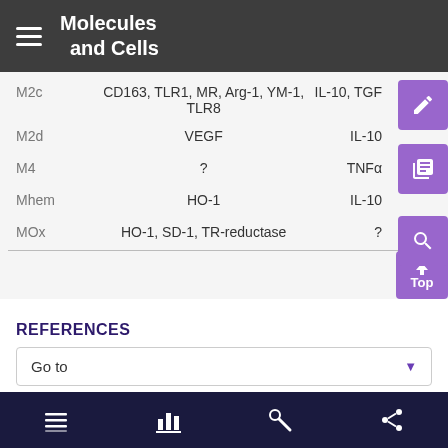Molecules and Cells
|  | Markers | Cytokines |
| --- | --- | --- |
| M2c | CD163, TLR1, MR, Arg-1, YM-1, TLR8 | IL-10, TGF |
| M2d | VEGF | IL-10 |
| M4 | ? | TNFα |
| Mhem | HO-1 | IL-10 |
| MOx | HO-1, SD-1, TR-reductase | ? |
REFERENCES
Go to